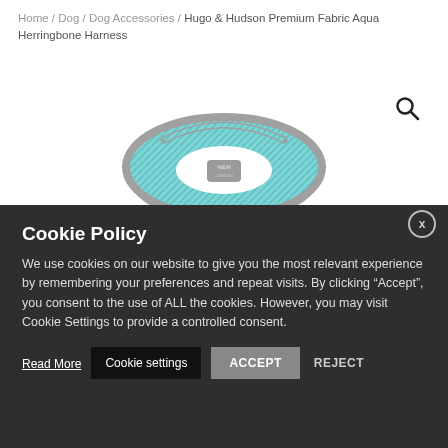Home / Dog / Dog Accessories / Hugo & Hudson Premium Fabric Aqua Herringbone Harness
[Figure (photo): Product photo of Hugo & Hudson Premium Fabric Aqua Herringbone Harness — a light aqua/teal herringbone patterned dog harness with grey trim and H&H logo badge, viewed from the front/top angle.]
Cookie Policy
We use cookies on our website to give you the most relevant experience by remembering your preferences and repeat visits. By clicking “Accept”, you consent to the use of ALL the cookies. However, you may visit Cookie Settings to provide a controlled consent.
Read More
Cookie settings
ACCEPT
REJECT